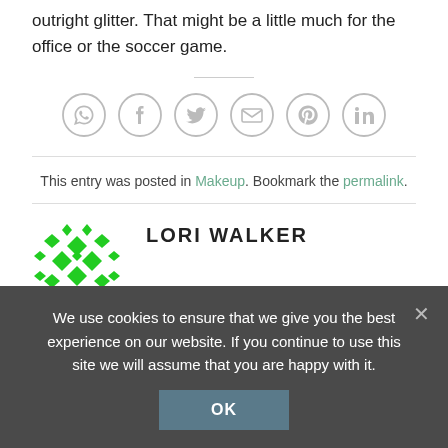outright glitter.  That might be a little much for the office or the soccer game.
[Figure (other): Social sharing icons row: WhatsApp, Facebook, Twitter, Email, Pinterest, LinkedIn — all grey circle outlines]
This entry was posted in Makeup. Bookmark the permalink.
[Figure (logo): Green geometric diamond/cross pattern avatar for author Lori Walker]
LORI WALKER
We use cookies to ensure that we give you the best experience on our website. If you continue to use this site we will assume that you are happy with it.